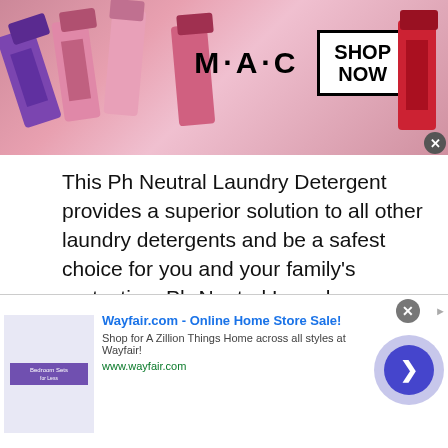[Figure (illustration): MAC cosmetics advertisement banner with lipsticks on left, MAC logo in center, and SHOP NOW box on right with a red lipstick on far right]
This Ph Neutral Laundry Detergent provides a superior solution to all other laundry detergents and be a safest choice for you and your family’s protection. Ph-Neutral Laundry Detergent prevents Ph imbalances (e.g., too much acidity) in your clothing, which can cause skin irritation or even an allergic reaction to some people who have sensitive skin.     Read more
[Figure (screenshot): Wayfair.com advertisement: Online Home Store Sale! Shop for A Zillion Things Home across all styles at Wayfair! www.wayfair.com — with bedroom image on left and navigation arrow button on right]